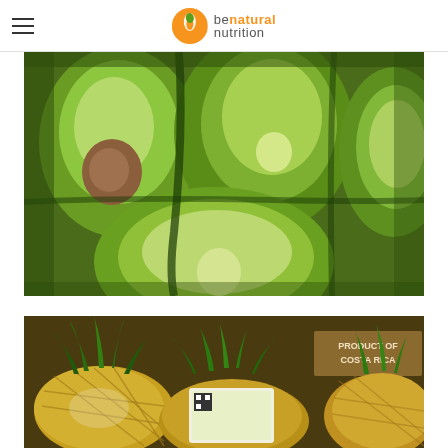benatural nutrition logo and hamburger menu
[Figure (photo): Close-up photograph of multiple avocados, some halved showing the light green flesh and brown seed, arranged together.]
[Figure (photo): Photograph of pineapples at a market display with a wooden sign reading 'PRODUCT OF COSTA RICA'.]